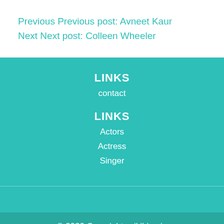Previous Previous post: Avneet Kaur
Next Next post: Colleen Wheeler
LINKS
contact
LINKS
Actors
Actress
Singer
© 2020 Copyright: wikibion.in